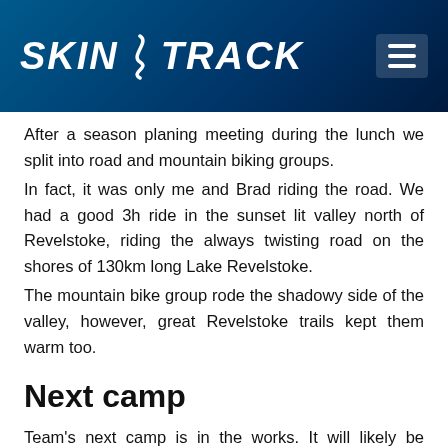SKIN TRACK
After a season planing meeting during the lunch we split into road and mountain biking groups.
In fact, it was only me and Brad riding the road. We had a good 3h ride in the sunset lit valley north of Revelstoke, riding the always twisting road on the shores of 130km long Lake Revelstoke.
The mountain bike group rode the shadowy side of the valley, however, great Revelstoke trails kept them warm too.
Next camp
Team's next camp is in the works. It will likely be already on skis somewhere high in the beautiful Canadian mountains.